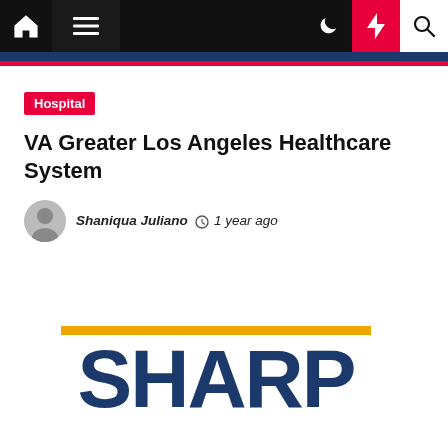Navigation bar with home, menu, moon, bolt, and search icons
Hospital
VA Greater Los Angeles Healthcare System
Shaniqua Juliano  1 year ago
[Figure (logo): Sharp logo with gold horizontal bar above large dark blue bold text reading SHARP]